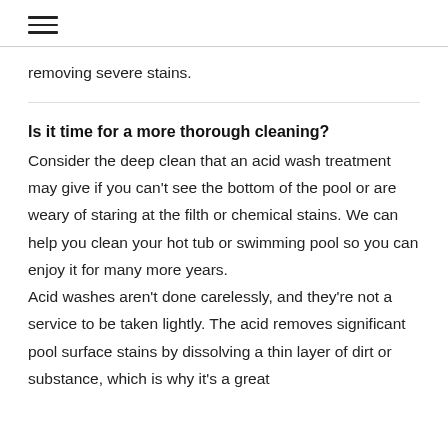☰
removing severe stains.
Is it time for a more thorough cleaning?
Consider the deep clean that an acid wash treatment may give if you can't see the bottom of the pool or are weary of staring at the filth or chemical stains. We can help you clean your hot tub or swimming pool so you can enjoy it for many more years. Acid washes aren't done carelessly, and they're not a service to be taken lightly. The acid removes significant pool surface stains by dissolving a thin layer of dirt or substance, which is why it's a great